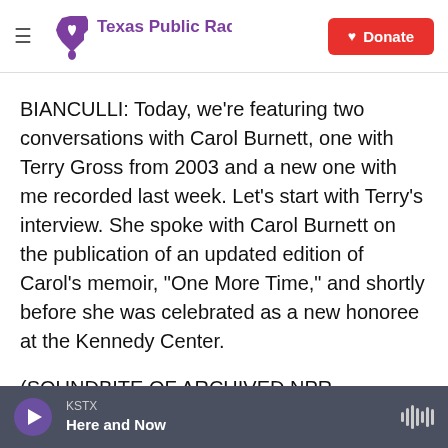Texas Public Radio | Donate
BIANCULLI: Today, we're featuring two conversations with Carol Burnett, one with Terry Gross from 2003 and a new one with me recorded last week. Let's start with Terry's interview. She spoke with Carol Burnett on the publication of an updated edition of Carol's memoir, "One More Time," and shortly before she was celebrated as a new honoree at the Kennedy Center.
(SOUNDBITE OF ARCHIVED NPR BROADCAST)
TERRY GROSS: Carol Burnett, congratulations on
KSTX Here and Now